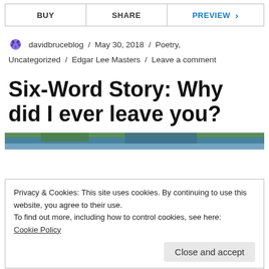BUY | SHARE | PREVIEW >
davidbruceblog / May 30, 2018 / Poetry, Uncategorized / Edgar Lee Masters / Leave a comment
Six-Word Story: Why did I ever leave you?
[Figure (photo): Partial view of an outdoor nature photo, cropped at top]
Privacy & Cookies: This site uses cookies. By continuing to use this website, you agree to their use.
To find out more, including how to control cookies, see here:
Cookie Policy
Close and accept